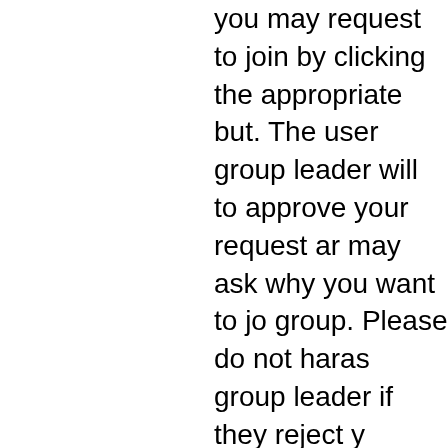you may request to join by clicking the appropriate but. The user group leader will to approve your request ar may ask why you want to jo group. Please do not haras group leader if they reject y request; they will have thei reasons.
Top
How do I become a usergrou leader?
A usergroup leader is usual assigned when usergroups initially created by a board administrator. If you are interested in creating a usergroup, your first point contact should be an administrator; try sending